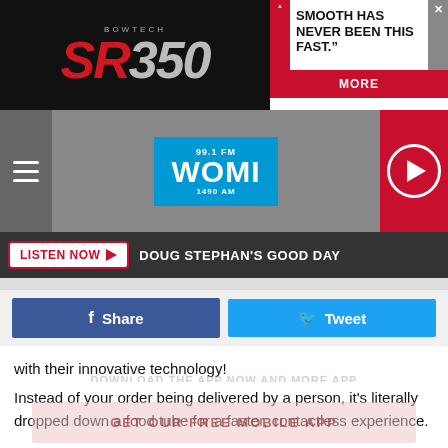[Figure (screenshot): Bowtech SR350 advertisement banner with red and white text 'SMOOTH HAS NEVER BEEN THIS FAST.' and MORE button]
[Figure (logo): WOMI 99.1 FM / 1490 AM radio station logo in blue]
LISTEN NOW ▶  DOUG STEPHAN'S GOOD DAY
Share   Tweet
with their innovative technology!
Instead of your order being delivered by a person, it's literally dropped down a food tube for a faster, contactless experience.
[Figure (screenshot): Walgreens Save on Select Vitamins advertisement]